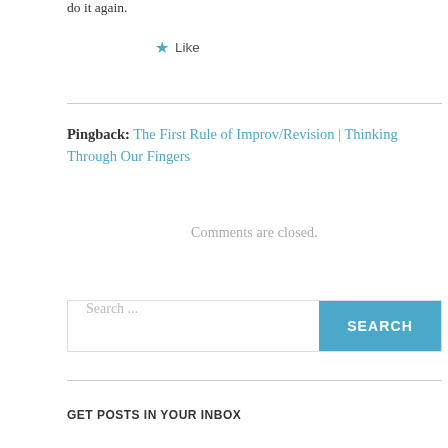do it again.
★ Like
Pingback: The First Rule of Improv/Revision | Thinking Through Our Fingers
Comments are closed.
Search ...
GET POSTS IN YOUR INBOX